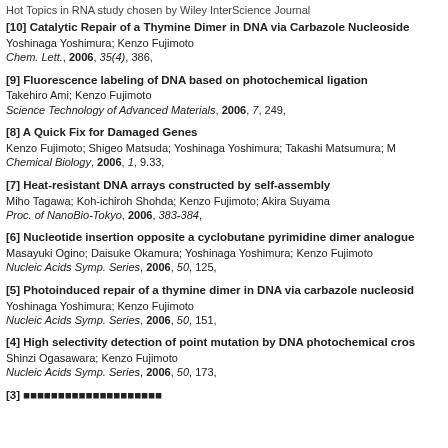Hot Topics in RNA study chosen by Wiley InterScience Journal
[10] Catalytic Repair of a Thymine Dimer in DNA via Carbazole Nucleoside
Yoshinaga Yoshimura; Kenzo Fujimoto
Chem. Lett., 2006, 35(4), 386,
[9] Fluorescence labeling of DNA based on photochemical ligation
Takehiro Ami; Kenzo Fujimoto
Science Technology of Advanced Materials, 2006, 7, 249,
[8] A Quick Fix for Damaged Genes
Kenzo Fujimoto; Shigeo Matsuda; Yoshinaga Yoshimura; Takashi Matsumura; M...
Chemical Biology, 2006, 1, 9.33,
[7] Heat-resistant DNA arrays constructed by self-assembly
Miho Tagawa; Koh-ichiroh Shohda; Kenzo Fujimoto; Akira Suyama
Proc. of NanoBio-Tokyo, 2006, 383-384,
[6] Nucleotide insertion opposite a cyclobutane pyrimidine dimer analogue
Masayuki Ogino; Daisuke Okamura; Yoshinaga Yoshimura; Kenzo Fujimoto
Nucleic Acids Symp. Series, 2006, 50, 125,
[5] Photoinduced repair of a thymine dimer in DNA via carbazole nucleoside
Yoshinaga Yoshimura; Kenzo Fujimoto
Nucleic Acids Symp. Series, 2006, 50, 151,
[4] High selectivity detection of point mutation by DNA photochemical cross
Shinzi Ogasawara; Kenzo Fujimoto
Nucleic Acids Symp. Series, 2006, 50, 173,
[3] ■■■■■■■■■■■■■■■■■■■■